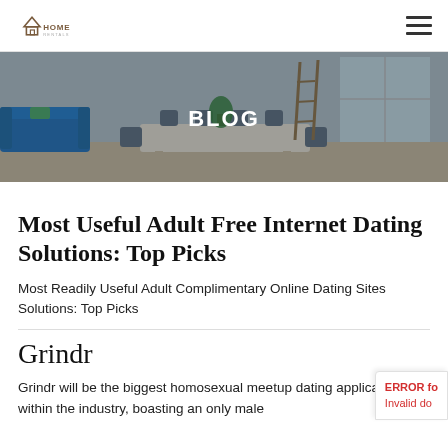HOME [logo]
[Figure (photo): Hero banner image of a modern living/dining room interior with blue sofa, dining table, chairs, and plants, overlaid with dark tint. Text 'BLOG' centered in white bold.]
Most Useful Adult Free Internet Dating Solutions: Top Picks
Most Readily Useful Adult Complimentary Online Dating Sites Solutions: Top Picks
Grindr
Grindr will be the biggest homosexual meetup dating application within the industry, boasting an only male